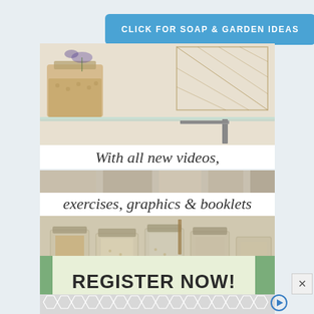[Figure (infographic): Blue rounded rectangle button with white bold text: CLICK FOR SOAP & GARDEN IDEAS]
[Figure (photo): Photo of glass shelf with grain jars and wire basket with decorative items]
With all new videos,
[Figure (photo): Narrow strip photo of jars on shelf]
exercises,  graphics & booklets
[Figure (photo): Photo of mason jars filled with grains and pasta on a shelf, with a register now button overlay]
REGISTER NOW!
[Figure (other): Grey geometric hexagon pattern strip at bottom with a play button icon]